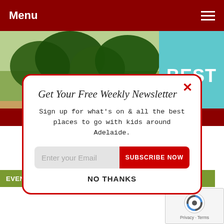Menu
[Figure (screenshot): Background showing a park with large trees on the left, and a cyan banner on the right with 'BEST PLAYGROUNDS' text]
Get Your Free Weekly Newsletter
Sign up for what's on & all the best places to go with kids around Adelaide.
Enter your Email  SUBSCRIBE NOW
NO THANKS
EVENT CALENDAR
[Figure (logo): reCAPTCHA logo with Privacy and Terms text]